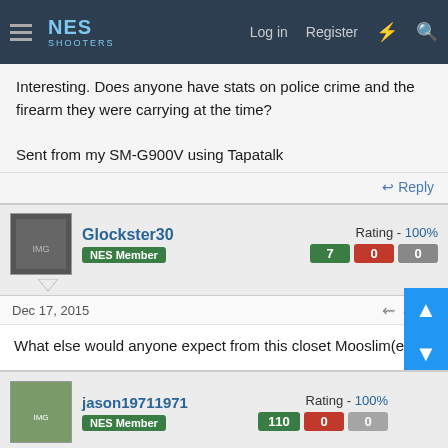NES Shooters — Log in | Register
Interesting. Does anyone have stats on police crime and the firearm they were carrying at the time?

Sent from my SM-G900V using Tapatalk
Reply
Glockster30 — NES Member — Rating - 100% — 7 | 0 | 0
Dec 17, 2015  #8/23
What else would anyone expect from this closet Mooslim(e)?
Reply
jason19711971 — NES Member — Rating - 100% — 110 | 0 | 0